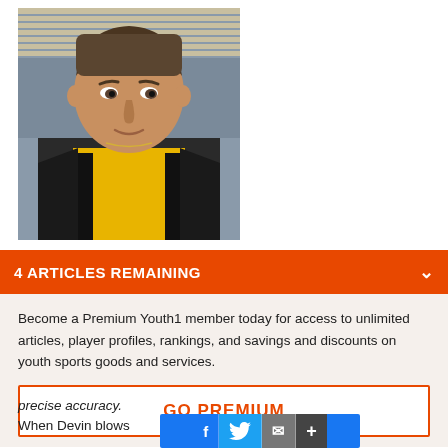[Figure (photo): Portrait photo of a young male athlete wearing a yellow jersey and backpack, with short hair, standing outdoors near a stadium]
4 ARTICLES REMAINING
Become a Premium Youth1 member today for access to unlimited articles, player profiles, rankings, and savings and discounts on youth sports goods and services.
GO PREMIUM
precise accuracy.
When Devin blows be proud to say